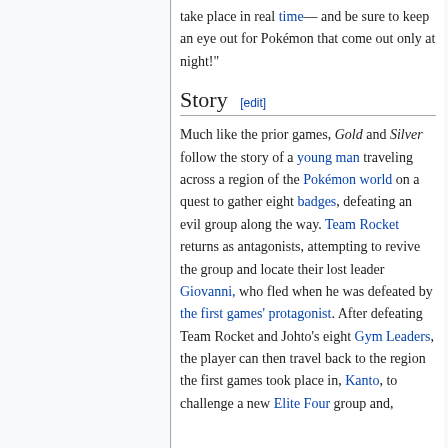take place in real time— and be sure to keep an eye out for Pokémon that come out only at night!"
Story [edit]
Much like the prior games, Gold and Silver follow the story of a young man traveling across a region of the Pokémon world on a quest to gather eight badges, defeating an evil group along the way. Team Rocket returns as antagonists, attempting to revive the group and locate their lost leader Giovanni, who fled when he was defeated by the first games' protagonist. After defeating Team Rocket and Johto's eight Gym Leaders, the player can then travel back to the region the first games took place in, Kanto, to challenge a new Elite Four group and,